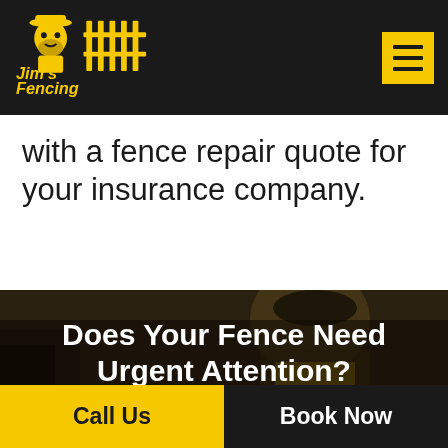[Figure (logo): Jim's Fencing logo — yellow cartoon man with beard and hat next to fence graphic, with text 'Jim's Fencing' in yellow]
with a fence repair quote for your insurance company.
Does Your Fence Need Urgent Attention?
Call Us
Book Now